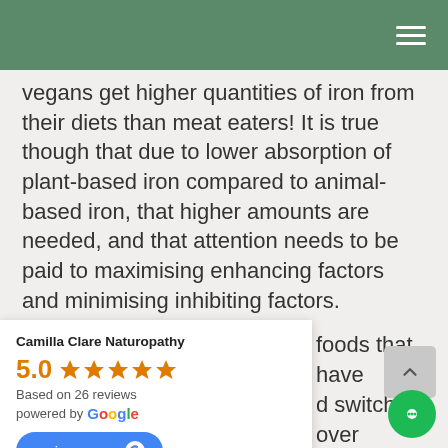vegans get higher quantities of iron from their diets than meat eaters!  It is true though that due to lower absorption of plant-based iron compared to animal-based iron, that higher amounts are needed, and that attention needs to be paid to maximising enhancing factors and minimising inhibiting factors.
[partially visible] foods that have [partially visible] switching over [partially visible] choice than [partially visible]gs!
[Figure (other): Google review widget showing Camilla Clare Naturopathy rated 5.0 stars based on 26 reviews, powered by Google, with a 'review us on Google' button.]